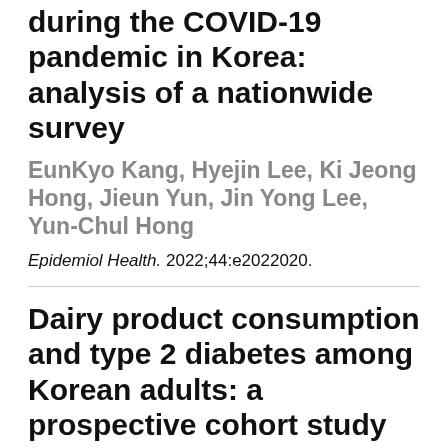during the COVID-19 pandemic in Korea: analysis of a nationwide survey
EunKyo Kang, Hyejin Lee, Ki Jeong Hong, Jieun Yun, Jin Yong Lee, Yun-Chul Hong
Epidemiol Health. 2022;44:e2022020.
Dairy product consumption and type 2 diabetes among Korean adults: a prospective cohort study based on the Health Examinees (HEXA)